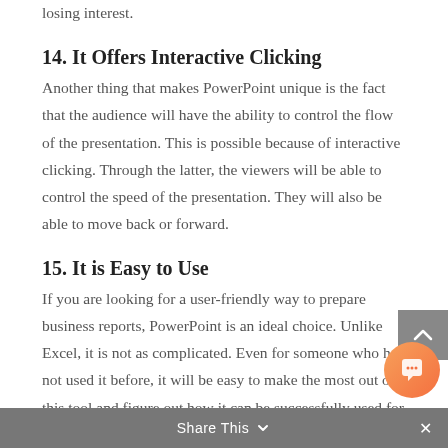losing interest.
14. It Offers Interactive Clicking
Another thing that makes PowerPoint unique is the fact that the audience will have the ability to control the flow of the presentation. This is possible because of interactive clicking. Through the latter, the viewers will be able to control the speed of the presentation. They will also be able to move back or forward.
15. It is Easy to Use
If you are looking for a user-friendly way to prepare business reports, PowerPoint is an ideal choice. Unlike Excel, it is not as complicated. Even for someone who has not used it before, it will be easy to make the most out of this tool and figure out how it can be successfully used for creating relevant and engaging presentations.
Share This